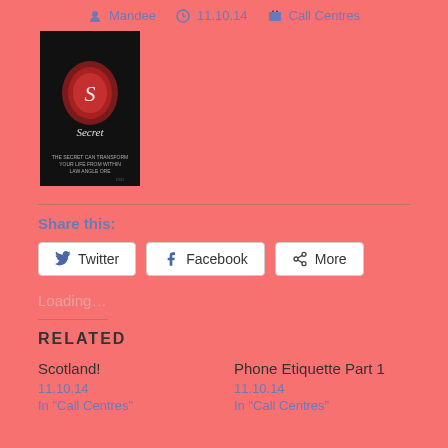Mandee  11.10.14  Call Centres
[Figure (photo): Book cover of 'The Secret' — dark background with a glowing red wax seal logo and white script text]
Share this:
Twitter  Facebook  More
Loading...
Related
Scotland!
11.10.14
In "Call Centres"
Phone Etiquette Part 1
11.10.14
In "Call Centres"